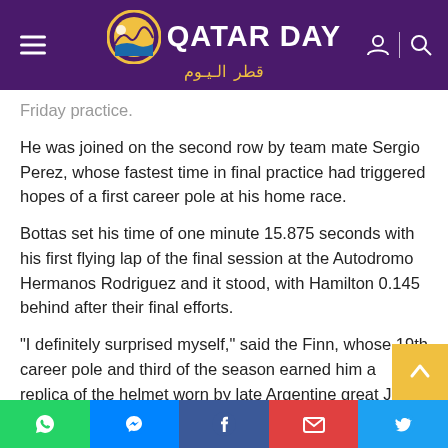Qatar Day - قطر اليوم
Friday practice.
He was joined on the second row by team mate Sergio Perez, whose fastest time in final practice had triggered hopes of a first career pole at his home race.
Bottas set his time of one minute 15.875 seconds with his first flying lap of the final session at the Autodromo Hermanos Rodriguez and it stood, with Hamilton 0.145 behind after their final efforts.
"I definitely surprised myself," said the Finn, whose 19th career pole and third of the season earned him a replica of the helmet worn by late Argentine great Juan Manuel Fan...